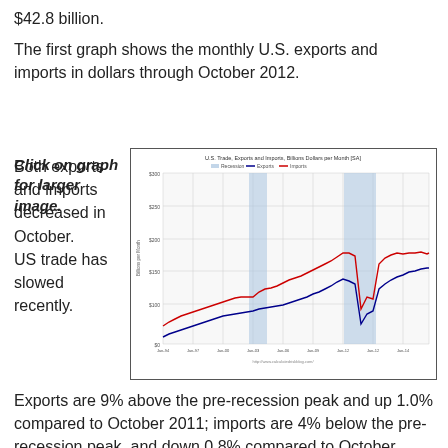$42.8 billion.
The first graph shows the monthly U.S. exports and imports in dollars through October 2012.
Click on graph for larger image.
[Figure (line-chart): Line chart showing monthly U.S. exports (blue line) and imports (red line) in billions of dollars per month from approximately 1994 to 2012, with two shaded recession periods. Both lines trend upward overall, dipping sharply during recessions. Imports are consistently above exports.]
Both exports and imports decreased in October. US trade has slowed recently.
Exports are 9% above the pre-recession peak and up 1.0% compared to October 2011; imports are 4% below the pre-recession peak, and down 0.8% compared to October 2011